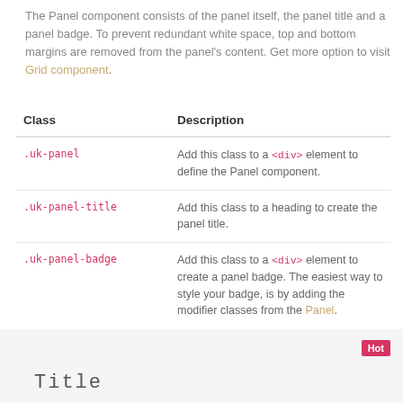The Panel component consists of the panel itself, the panel title and a panel badge. To prevent redundant white space, top and bottom margins are removed from the panel's content. Get more option to visit Grid component.
| Class | Description |
| --- | --- |
| .uk-panel | Add this class to a <div> element to define the Panel component. |
| .uk-panel-title | Add this class to a heading to create the panel title. |
| .uk-panel-badge | Add this class to a <div> element to create a panel badge. The easiest way to style your badge, is by adding the modifier classes from the Panel. |
[Figure (other): Preview panel showing Title text with a red Hot badge in the top right corner, on a light grey background.]